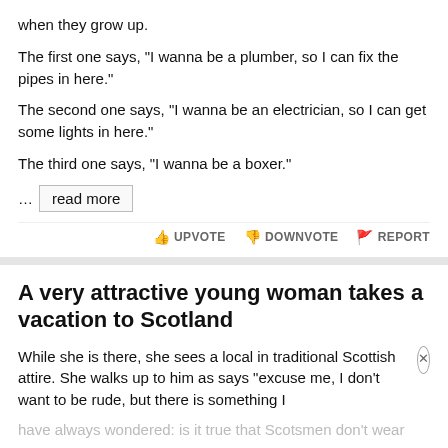when they grow up.
The first one says, "I wanna be a plumber, so I can fix the pipes in here."
The second one says, "I wanna be an electrician, so I can get some lights in here."
The third one says, "I wanna be a boxer."
... read more
UPVOTE  DOWNVOTE  REPORT
A very attractive young woman takes a vacation to Scotland
While she is there, she sees a local in traditional Scottish attire. She walks up to him as says "excuse me, I don't want to be rude, but there is something I have always wondered: is it true that Scotsmen don't wear...
"Well..." says the Scotsman. "Why don't you...
read more